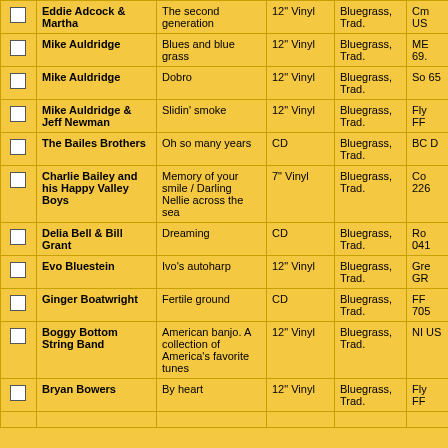|  | Artist | Title | Format | Genre | Label |
| --- | --- | --- | --- | --- | --- |
|  | Eddie Adcock & Martha | The second generation | 12" Vinyl | Bluegrass, Trad. | CM US |
|  | Mike Auldridge | Blues and blue grass | 12" Vinyl | Bluegrass, Trad. | ME 69. |
|  | Mike Auldridge | Dobro | 12" Vinyl | Bluegrass, Trad. | So 65 |
|  | Mike Auldridge & Jeff Newman | Slidin' smoke | 12" Vinyl | Bluegrass, Trad. | Fly FF |
|  | The Bailes Brothers | Oh so many years | CD | Bluegrass, Trad. | BC D |
|  | Charlie Bailey and his Happy Valley Boys | Memory of your smile / Darling Nellie across the sea | 7" Vinyl | Bluegrass, Trad. | Co 226 |
|  | Delia Bell & Bill Grant | Dreaming | CD | Bluegrass, Trad. | Ro 041 |
|  | Evo Bluestein | Ivo's autoharp | 12" Vinyl | Bluegrass, Trad. | Gre GR |
|  | Ginger Boatwright | Fertile ground | CD | Bluegrass, Trad. | FF 705 |
|  | Boggy Bottom String Band | American banjo. A collection of America's favorite tunes | 12" Vinyl | Bluegrass, Trad. | NI US |
|  | Bryan Bowers | By heart | 12" Vinyl | Bluegrass, Trad. | Fly FF |